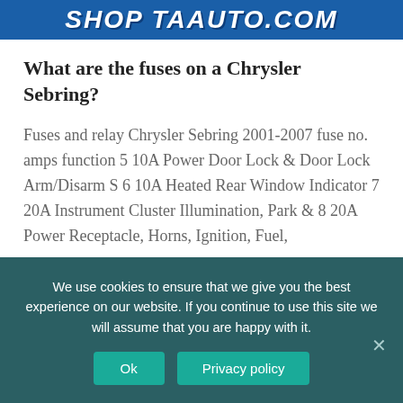SHOP TAAUTO.COM
What are the fuses on a Chrysler Sebring?
Fuses and relay Chrysler Sebring 2001-2007 fuse no. amps function 5 10A Power Door Lock & Door Lock Arm/Disarm S 6 10A Heated Rear Window Indicator 7 20A Instrument Cluster Illumination, Park & 8 20A Power Receptacle, Horns, Ignition, Fuel,
Why do I hear a buzz in my rear wiper?
We use cookies to ensure that we give you the best experience on our website. If you continue to use this site we will assume that you are happy with it.